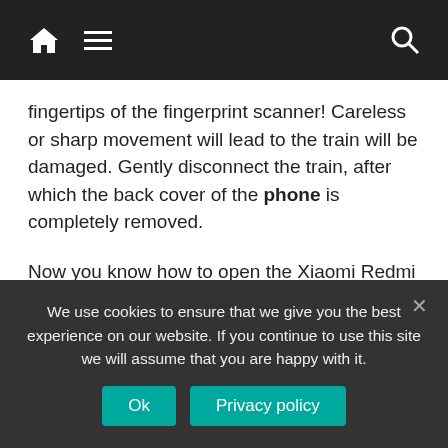Navigation bar with home, menu, and search icons
fingertips of the fingerprint scanner! Careless or sharp movement will lead to the train will be damaged. Gently disconnect the train, after which the back cover of the phone is completely removed.
Now you know how to open the Xiaomi Redmi 5 lid. And here you will find detailed instructions for disassembling Xiaomi Redmi 4x.
How to open the
We use cookies to ensure that we give you the best experience on our website. If you continue to use this site we will assume that you are happy with it.